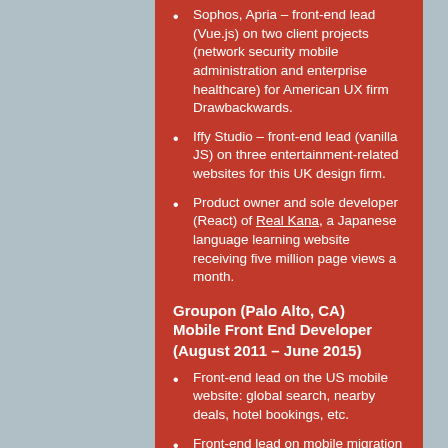Sophos, Apria – front-end lead (Vue.js) on two client projects (network security mobile administration and enterprise healthcare) for American UX firm Drawbackwards.
Iffy Studio – front-end lead (vanilla JS) on three entertainment-related websites for this UK design firm.
Product owner and sole developer (React) of Real Kana, a Japanese language learning website receiving five million page views a month.
Groupon (Palo Alto, CA)
Mobile Front End Developer (August 2011 – June 2015)
Front-end lead on the US mobile website: global search, nearby deals, hotel bookings, etc.
Front-end lead on mobile migration from Rails to Node.js.
Front-end lead on migration of legacy